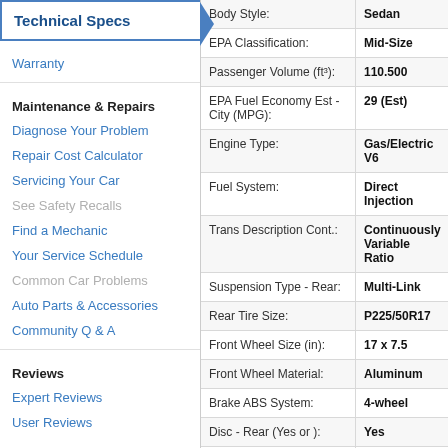Technical Specs
Warranty
Maintenance & Repairs
Diagnose Your Problem
Repair Cost Calculator
Servicing Your Car
See Safety Recalls
Find a Mechanic
Your Service Schedule
Common Car Problems
Auto Parts & Accessories
Community Q & A
Reviews
Expert Reviews
User Reviews
| Spec | Value |
| --- | --- |
| Body Style: | Sedan |
| EPA Classification: | Mid-Size |
| Passenger Volume (ft³): | 110.500 |
| EPA Fuel Economy Est - City (MPG): | 29 (Est) |
| Engine Type: | Gas/Electric V6 |
| Fuel System: | Direct Injection |
| Trans Description Cont.: | Continuously Variable Ratio |
| Suspension Type - Rear: | Multi-Link |
| Rear Tire Size: | P225/50R17 |
| Front Wheel Size (in): | 17 x 7.5 |
| Front Wheel Material: | Aluminum |
| Brake ABS System: | 4-wheel |
| Disc - Rear (Yes or ): | Yes |
| Fuel Tank Capacity Approx | 17.400 |